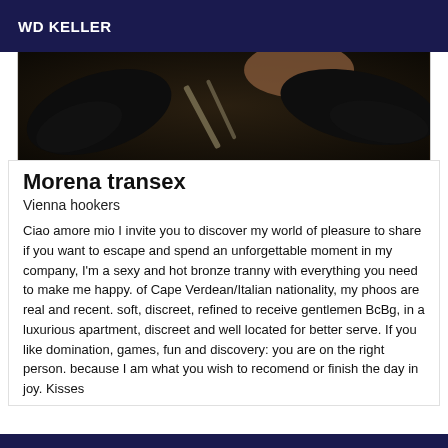WD KELLER
[Figure (photo): Dark background photo showing black leather gloves with metallic object, skin tone visible at top]
Morena transex
Vienna hookers
Ciao amore mio I invite you to discover my world of pleasure to share if you want to escape and spend an unforgettable moment in my company, I'm a sexy and hot bronze tranny with everything you need to make me happy. of Cape Verdean/Italian nationality, my phoos are real and recent. soft, discreet, refined to receive gentlemen BcBg, in a luxurious apartment, discreet and well located for better serve. If you like domination, games, fun and discovery: you are on the right person. because I am what you wish to recomend or finish the day in joy. Kisses